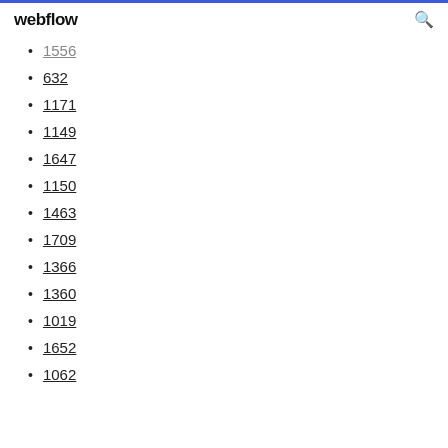webflow
1556
632
1171
1149
1647
1150
1463
1709
1366
1360
1019
1652
1062